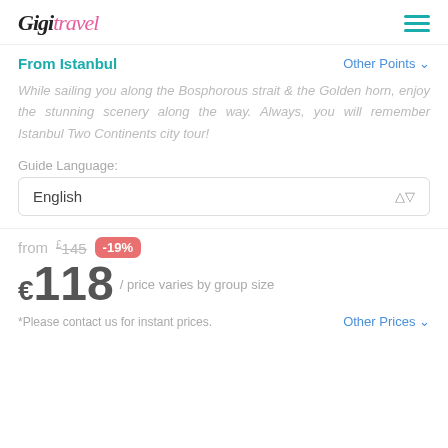Gigi Travel
From Istanbul    Other Points
While sailing you along the Bosphorous strait & the Golden horn, enjoy the stunning scenery along the way. Always, you will remember Istanbul Two Continents city tour!
Guide Language:
English
from £145 -19%
€118 / price varies by group size
*Please contact us for instant prices.    Other Prices